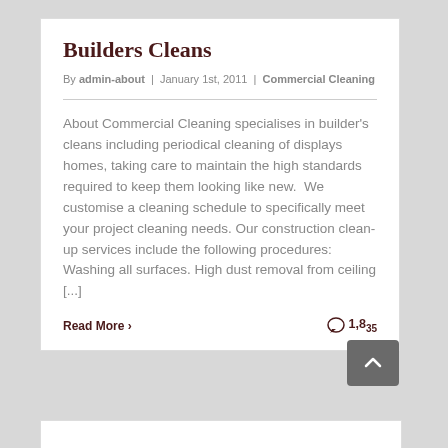Builders Cleans
By admin-about | January 1st, 2011 | Commercial Cleaning
About Commercial Cleaning specialises in builder's cleans including periodical cleaning of displays homes, taking care to maintain the high standards required to keep them looking like new.  We  customise a cleaning schedule to specifically meet your project cleaning needs. Our construction clean-up services include the following procedures: Washing all surfaces. High dust removal from ceiling [...]
Read More >
1,835